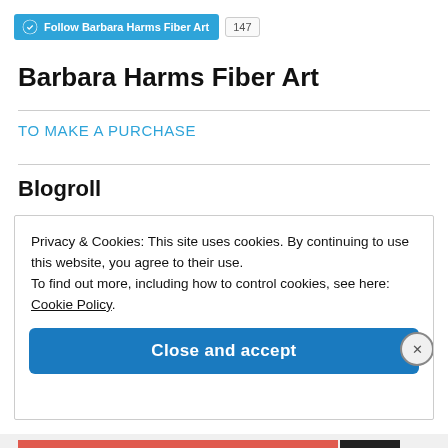[Figure (screenshot): WordPress Follow button for Barbara Harms Fiber Art with follower count 147]
Barbara Harms Fiber Art
TO MAKE A PURCHASE
Blogroll
Privacy & Cookies: This site uses cookies. By continuing to use this website, you agree to their use.
To find out more, including how to control cookies, see here: Cookie Policy
Close and accept